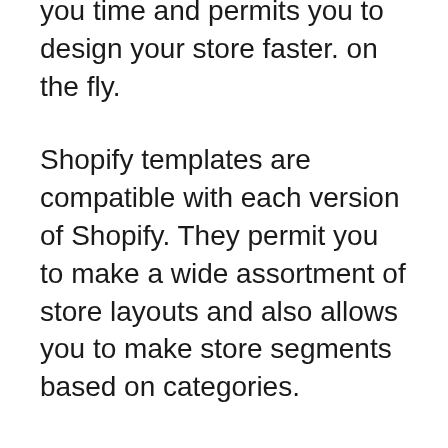you time and permits you to design your store faster. on the fly.
Shopify templates are compatible with each version of Shopify. They permit you to make a wide assortment of store layouts and also allows you to make store segments based on categories.
Shopify apps provide lots of the exact same store’s features, including the ability to add categories and products, handle customer payments, and add products via an interface. on the homepage. Using Shopify App Store, you can even add additional functionality like Google maps.
Shopify themes aren’t compatible with all